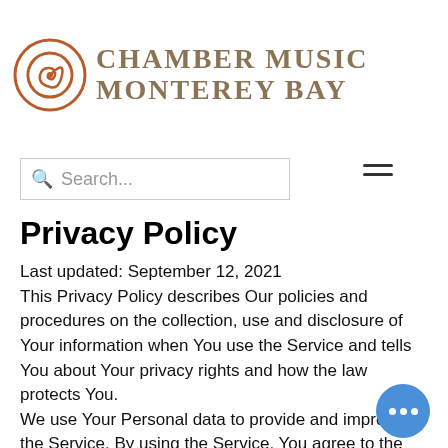[Figure (logo): Chamber Music Monterey Bay logo with spiral snail shell icon in rust/brown color and serif uppercase text]
Search... [search box] [hamburger menu]
Privacy Policy
Last updated: September 12, 2021
This Privacy Policy describes Our policies and procedures on the collection, use and disclosure of Your information when You use the Service and tells You about Your privacy rights and how the law protects You.
We use Your Personal data to provide and improve the Service. By using the Service, You agree to the collection and use of information in accordance with this Privacy Policy.